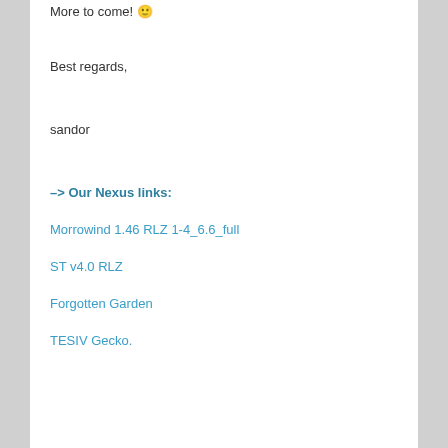More to come! 🙂
Best regards,
sandor
–> Our Nexus links:
Morrowind 1.46 RLZ 1-4_6.6_full
ST v4.0 RLZ
Forgotten Garden
TESIV Gecko.